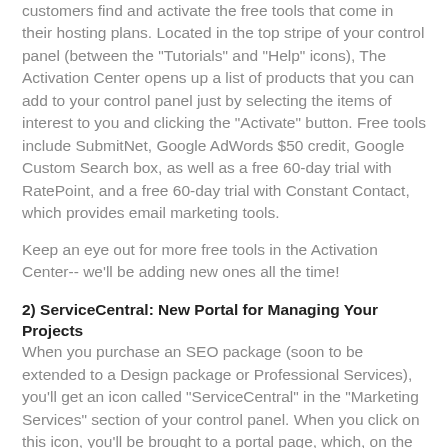customers find and activate the free tools that come in their hosting plans. Located in the top stripe of your control panel (between the "Tutorials" and "Help" icons), The Activation Center opens up a list of products that you can add to your control panel just by selecting the items of interest to you and clicking the "Activate" button. Free tools include SubmitNet, Google AdWords $50 credit, Google Custom Search box, as well as a free 60-day trial with RatePoint, and a free 60-day trial with Constant Contact, which provides email marketing tools.
Keep an eye out for more free tools in the Activation Center-- we'll be adding new ones all the time!
2) ServiceCentral: New Portal for Managing Your Projects
When you purchase an SEO package (soon to be extended to a Design package or Professional Services), you'll get an icon called "ServiceCentral" in the "Marketing Services" section of your control panel. When you click on this icon, you'll be brought to a portal page, which, on the "My Projects" tab, keeps a list of your active and past projects